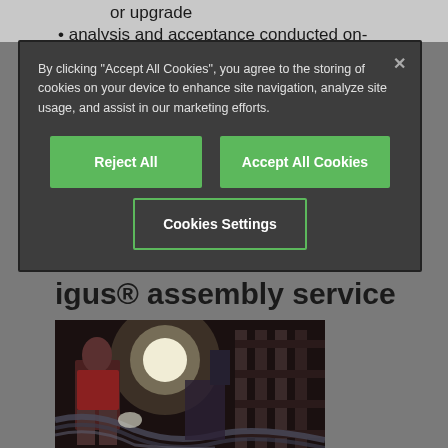or upgrade
analysis and acceptance conducted on-
By clicking “Accept All Cookies”, you agree to the storing of cookies on your device to enhance site navigation, analyze site usage, and assist in our marketing efforts.
Reject All
Accept All Cookies
Cookies Settings
igus® assembly service
[Figure (photo): Industrial assembly scene showing workers/equipment in a factory or industrial setting with bright lighting]